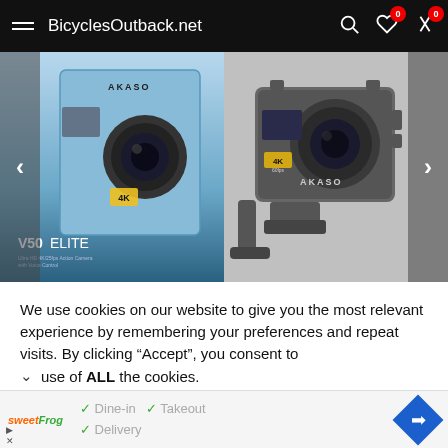BicyclesOutback.net
[Figure (screenshot): Product image carousel showing AKASO V50 Elite 4K action camera in box (left) and camera body in waterproof case (right) with left/right navigation arrows]
We use cookies on our website to give you the most relevant experience by remembering your preferences and repeat visits. By clicking “Accept”, you consent to use of ALL the cookies.
[Figure (screenshot): Advertisement banner for sweetFrog showing Dine-in, Takeout, and Delivery options with a blue map direction button on the right]